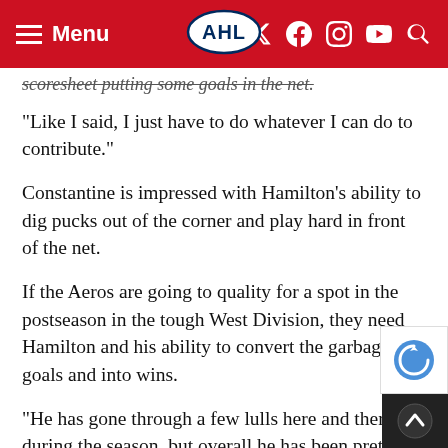Menu | AHL | [social icons]
scoresheet putting some goals in the net.
“Like I said, I just have to do whatever I can do to contribute.”
Constantine is impressed with Hamilton’s ability to dig pucks out of the corner and play hard in front of the net.
If the Aeros are going to quality for a spot in the postseason in the tough West Division, they need Hamilton and his ability to convert the garbage into goals and into wins.
“He has gone through a few lulls here and there during the season, but overall he has been pretty steady for us,” Constantine said. “Coming into training camp, and watching from there until think he has done a great job of figuring out wha